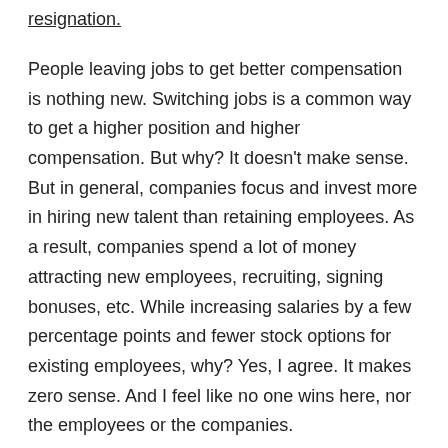resignation.
People leaving jobs to get better compensation is nothing new. Switching jobs is a common way to get a higher position and higher compensation. But why? It doesn't make sense. But in general, companies focus and invest more in hiring new talent than retaining employees. As a result, companies spend a lot of money attracting new employees, recruiting, signing bonuses, etc. While increasing salaries by a few percentage points and fewer stock options for existing employees, why? Yes, I agree. It makes zero sense. And I feel like no one wins here, nor the employees or the companies.
I am familiar with the amount of time and money invested in recruiting new employees, specifically tech